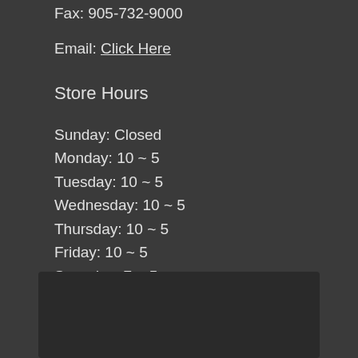Fax: 905-732-9000
Email: Click Here
Store Hours
Sunday: Closed
Monday: 10 ~ 5
Tuesday: 10 ~ 5
Wednesday: 10 ~ 5
Thursday: 10 ~ 5
Friday: 10 ~ 5
Saturday: 7 ~ 5
[Figure (photo): Dark rectangular image area at the bottom of the page]